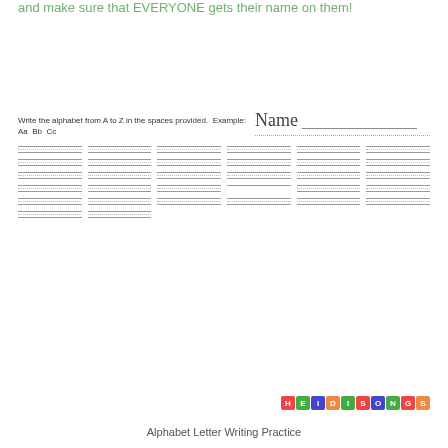and make sure that EVERYONE gets their name on them!
Write the alphabet from A to Z in the spaces provided. Example: Aa Bb Cc
[Figure (illustration): Name field with label and dotted/solid lines for writing]
[Figure (illustration): Writing practice lines arranged in 6 columns with solid and dotted lines for alphabet letter writing practice]
[Figure (logo): HeidiSongs logo with colored letter blocks spelling HEIDISONGS]
Alphabet Letter Writing Practice